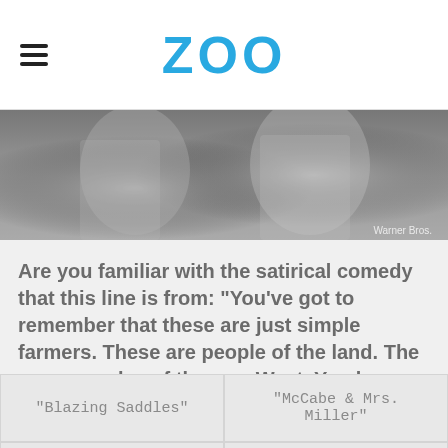ZOO
[Figure (photo): Grayscale image strip showing people, with 'Warner Bros.' watermark in bottom right corner]
Are you familiar with the satirical comedy that this line is from: "You've got to remember that these are just simple farmers. These are people of the land. The common clay of the new West. You know, morons."?
"Blazing Saddles"
"McCabe & Mrs. Miller"
"The Proposition"
"Shanghai Noon"